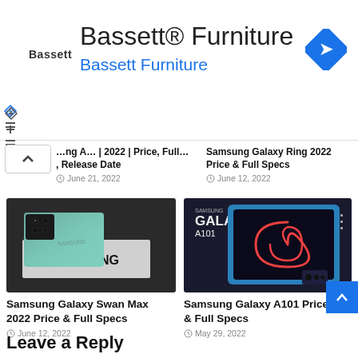[Figure (screenshot): Bassett Furniture advertisement banner with Bassett logo, navigation diamond icon, and blue link text]
ing A… | 2022 | Price, Full…, Release Date
Samsung Galaxy Ring 2022 Price & Full Specs
June 21, 2022
June 12, 2022
[Figure (photo): Samsung Galaxy Swan Max phone on box with Samsung branding]
[Figure (photo): Samsung Galaxy A101 phone with spiral design on screen]
Samsung Galaxy Swan Max 2022 Price & Full Specs
Samsung Galaxy A101 Price & Full Specs
June 12, 2022
May 29, 2022
Leave a Reply